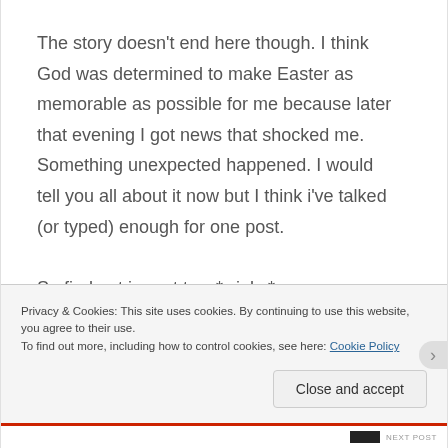The story doesn't end here though. I think God was determined to make Easter as memorable as possible for me because later that evening I got news that shocked me. Something unexpected happened. I would tell you all about it now but I think i've talked (or typed) enough for one post.

So find out in part two *winks*
Privacy & Cookies: This site uses cookies. By continuing to use this website, you agree to their use.
To find out more, including how to control cookies, see here: Cookie Policy